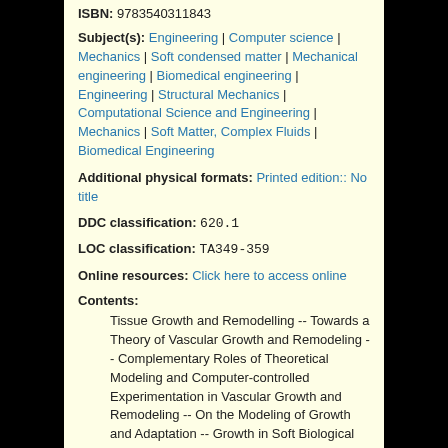ISBN: 9783540311843
Subject(s): Engineering | Computer science | Mechanics | Soft condensed matter | Mechanical engineering | Biomedical engineering | Engineering | Structural Mechanics | Computational Science and Engineering | Mechanics | Soft Matter, Complex Fluids | Biomedical Engineering
Additional physical formats: Printed edition:: No title
DDC classification: 620.1
LOC classification: TA349-359
Online resources: Click here to access online
Contents:
Tissue Growth and Remodelling -- Towards a Theory of Vascular Growth and Remodeling -- Complementary Roles of Theoretical Modeling and Computer-controlled Experimentation in Vascular Growth and Remodeling -- On the Modeling of Growth and Adaptation -- Growth in Soft Biological Tissue and Residual